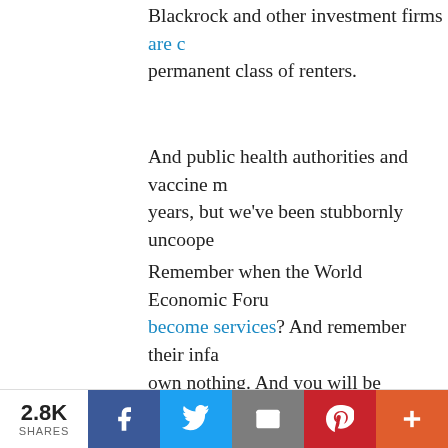Blackrock and other investment firms are creating a permanent class of renters.
And public health authorities and vaccine manufacturers have been telling us for years, but we've been stubbornly uncooperative.
Remember when the World Economic Forum predicted products would become services? And remember their infamous prediction "You will own nothing. And you will be happy."? Well, we're well on our way to a subscription-based economy. And apparently privacy is an acceptable trade-off for access to your life.
[Figure (screenshot): A media player thumbnail strip showing a black video panel, a white panel with the number '1' in blue, and a partial image of a person's head.]
2.8K SHARES
[Figure (infographic): Social media share bar with Facebook, Twitter, Email, Pinterest, and plus buttons]